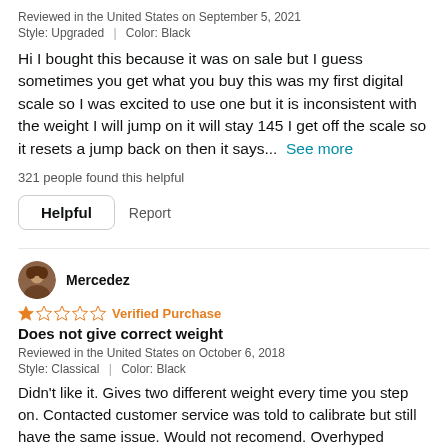Reviewed in the United States on September 5, 2021
Style: Upgraded | Color: Black
Hi I bought this because it was on sale but I guess sometimes you get what you buy this was my first digital scale so I was excited to use one but it is inconsistent with the weight I will jump on it will stay 145 I get off the scale so it resets a jump back on then it says... See more
321 people found this helpful
Helpful  Report
Mercedez
Verified Purchase
Does not give correct weight
Reviewed in the United States on October 6, 2018
Style: Classical | Color: Black
Didn't like it. Gives two different weight every time you step on. Contacted customer service was told to calibrate but still have the same issue. Would not recomend. Overhyped product. I was not paid so I gave my honest review.